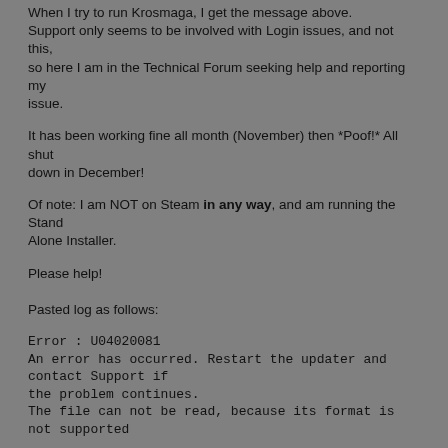When I try to run Krosmaga, I get the message above. Support only seems to be involved with Login issues, and not this, so here I am in the Technical Forum seeking help and reporting my issue.
It has been working fine all month (November) then *Poof!* All shut down in December!
Of note: I am NOT on Steam in any way, and am running the Stand Alone Installer.
Please help!
Pasted log as follows:
Error : U04020081
An error has occurred. Restart the updater and contact Support if the problem continues.
The file can not be read, because its format is not supported
------------------